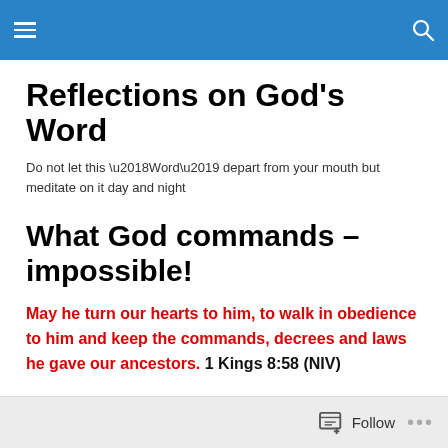[hamburger menu] Reflections on God's Word [search icon]
Reflections on God's Word
Do not let this ‘Word’ depart from your mouth but meditate on it day and night
What God commands – impossible!
May he turn our hearts to him, to walk in obedience to him and keep the commands, decrees and laws he gave our ancestors. 1 Kings 8:58 (NIV)
Follow ...